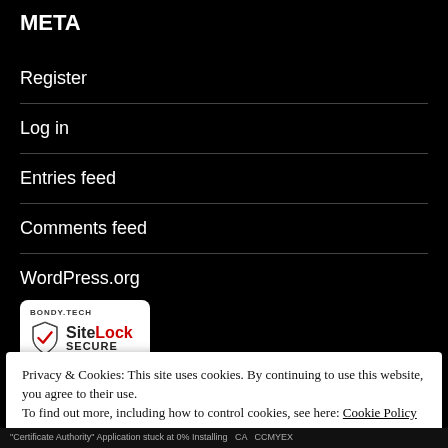META
Register
Log in
Entries feed
Comments feed
WordPress.org
[Figure (logo): SiteLock Secure badge with BONDY.TECH branding, shield icon with red checkmark, and text SiteLock SECURE]
Privacy & Cookies: This site uses cookies. By continuing to use this website, you agree to their use.
To find out more, including how to control cookies, see here: Cookie Policy
Close and accept
"Certificate Authority" Application stuck at 0% Installing  CA CCMYEX